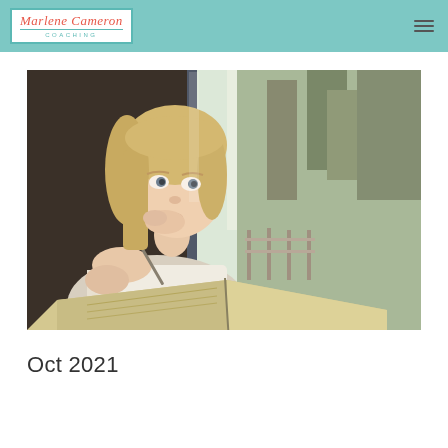Marlene Cameron Coaching
[Figure (photo): Young blonde woman sitting by a train window, thoughtfully looking outside while holding a pen over an open notebook/journal. The window shows a blurred green and grey outdoor scene with trees and countryside.]
Oct 2021